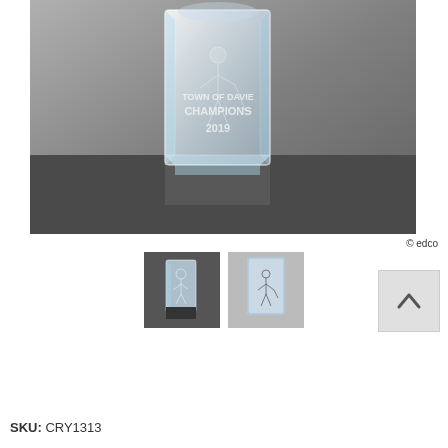[Figure (photo): Crystal trophy with laser-engraved hockey player inside. Text on trophy reads 'TOWN OF DAVIE CHAMPIONS 2019'. Trophy sits on a dark surface against a grey background.]
© edco
[Figure (photo): Two smaller thumbnail images of the crystal trophy from different angles showing the laser-engraved hockey player inside.]
| Size |  |
| --- | --- |
| Size | 4.5"H x 2"W x 2"D, Weight: 1.5 Lbs. |
SKU: CRY1313